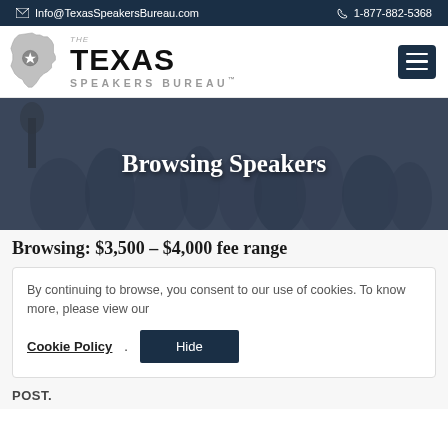Info@TexasSpeakersBureau.com   1-877-882-5368
[Figure (logo): The Texas Speakers Bureau logo with Texas state silhouette and hamburger menu button]
Browsing Speakers
Browsing: $3,500 - $4,000 fee range
By continuing to browse, you consent to our use of cookies. To know more, please view our Cookie Policy.
POST.